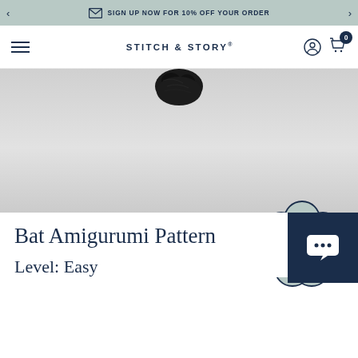SIGN UP NOW FOR 10% OFF YOUR ORDER
[Figure (logo): STITCH & STORY® logo with hamburger menu, user icon, and cart icon with badge 0]
[Figure (photo): Product image showing a black yarn ball / amigurumi bat on light grey background, with a flower-shaped GET 10% OFF discount badge]
Bat Amigurumi Pattern
Level: Easy